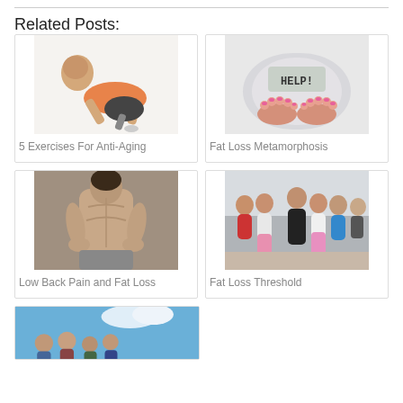Related Posts:
[Figure (photo): Older bald man in orange shirt doing push-ups exercise]
5 Exercises For Anti-Aging
[Figure (photo): Feet standing on a bathroom scale displaying HELP!]
Fat Loss Metamorphosis
[Figure (photo): Person viewed from behind showing back muscles with hands on hips]
Low Back Pain and Fat Loss
[Figure (photo): Group of people in fitness workout clothes posing together in gym]
Fat Loss Threshold
[Figure (photo): Partial view of group of people outdoors in blue sky background]